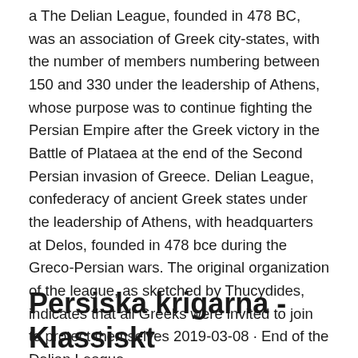a The Delian League, founded in 478 BC, was an association of Greek city-states, with the number of members numbering between 150 and 330 under the leadership of Athens, whose purpose was to continue fighting the Persian Empire after the Greek victory in the Battle of Plataea at the end of the Second Persian invasion of Greece. Delian League, confederacy of ancient Greek states under the leadership of Athens, with headquarters at Delos, founded in 478 bce during the Greco-Persian wars. The original organization of the league, as sketched by Thucydides, indicates that all Greeks were invited to join to protect themselves 2019-03-08 · End of the Delian League .
Persiska krigarna - Klassiskt